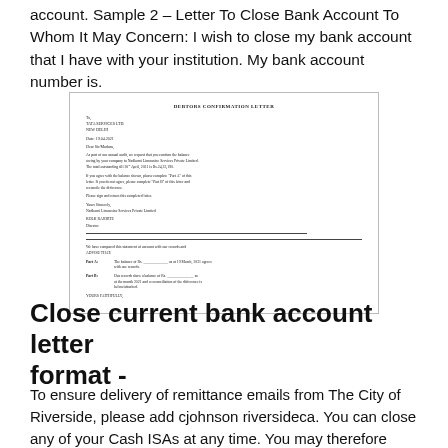account. Sample 2 – Letter To Close Bank Account To Whom It May Concern: I wish to close my bank account that I have with your institution. My bank account number is.
[Figure (illustration): A scanned image of a Debtors Confirmation Letter template with sections including To, Date, Dear Sir/Madam, body paragraphs, signature block, a horizontal divider line, and Part A and Part B sections for balance confirmation.]
Close current bank account letter format -
To ensure delivery of remittance emails from The City of Riverside, please add cjohnson riversideca. You can close any of your Cash ISAs at any time. You may therefore wish to